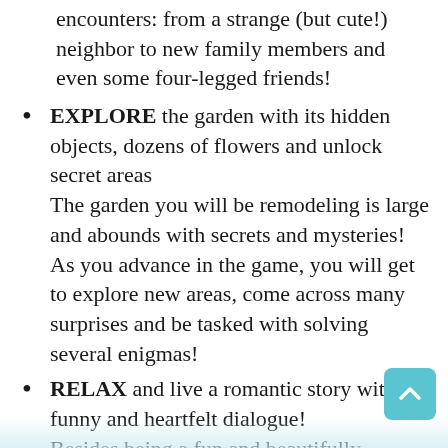encounters: from a strange (but cute!) neighbor to new family members and even some four-legged friends!
EXPLORE the garden with its hidden objects, dozens of flowers and unlock secret areas The garden you will be remodeling is large and abounds with secrets and mysteries! As you advance in the game, you will get to explore new areas, come across many surprises and be tasked with solving several enigmas!
RELAX and live a romantic story with funny and heartfelt dialogue! Besides being a fun and beautifully designed game, Lily's Garden is also an excellent way to relax! Take a break from your stressful activities and spend some time diving into a calming world of landscaping and yard decorating. Not only will it be satisfying to revive your old family garden, but you will also be acquainted with Lily and her many